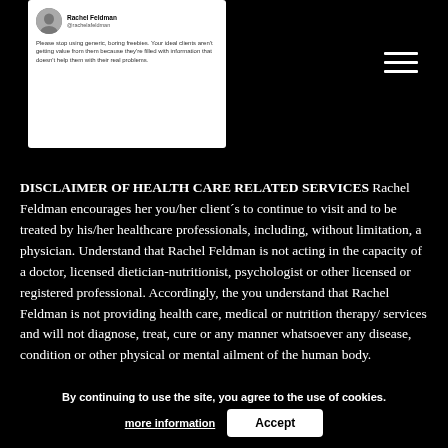[Figure (screenshot): Screenshot of a social media post by Rachel Feldman (@rachelafeldman) saying 'Please stop using generic, boring freebies. Your ideal clients aren't getting value from them because they're filled with information that doesn't help them with their real problems.']
DISCLAIMER OF HEALTH CARE RELATED SERVICES Rachel Feldman encourages her you/her client´s to continue to visit and to be treated by his/her healthcare professionals, including, without limitation, a physician. Understand that Rachel Feldman is not acting in the capacity of a doctor, licensed dietician-nutritionist, psychologist or other licensed or registered professional. Accordingly, the you understand that Rachel Feldman is not providing health care, medical or nutrition therapy/ services and will not diagnose, treat, cure or any manner whatsoever any disease, condition or other physical or mental ailment of the human body.
By continuing to use the site, you agree to the use of cookies.
more information
Accept